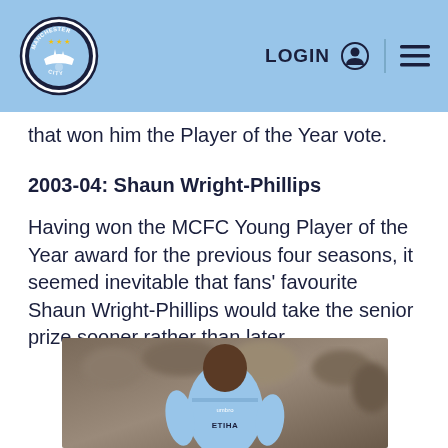Manchester City | LOGIN | Menu
that won him the Player of the Year vote.
2003-04: Shaun Wright-Phillips
Having won the MCFC Young Player of the Year award for the previous four seasons, it seemed inevitable that fans' favourite Shaun Wright-Phillips would take the senior prize sooner rather than later.
[Figure (photo): Shaun Wright-Phillips in Manchester City light blue kit with Etihad Airways sponsor, running with the ball, crowd in background]